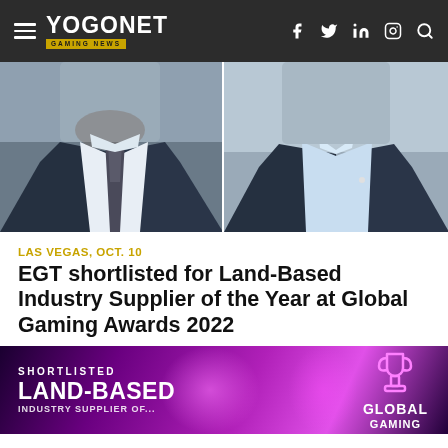YOGONET GAMING NEWS
[Figure (photo): Two men in business suits, cropped at shoulders/chest level, side by side]
LAS VEGAS, OCT. 10
EGT shortlisted for Land-Based Industry Supplier of the Year at Global Gaming Awards 2022
[Figure (illustration): Purple/magenta award banner reading SHORTLISTED LAND-BASED with Global Gaming logo/trophy on right]